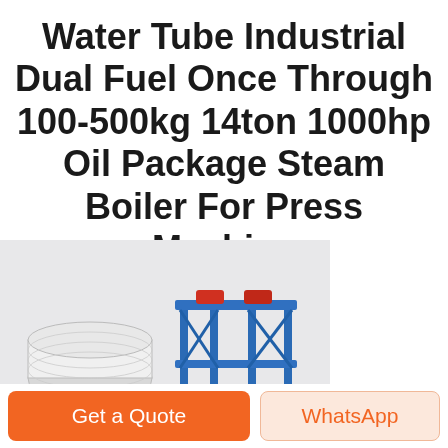Water Tube Industrial Dual Fuel Once Through 100-500kg 14ton 1000hp Oil Package Steam Boiler For Press Machine
[Figure (photo): Industrial water tube steam boiler package unit — a large horizontal cylindrical boiler body (white/grey) with a blue steel frame structure and red components on top, shown in a light grey render background.]
[Figure (other): Two call-to-action buttons at bottom: orange 'Get a Quote' button on the left, and a light orange/peach 'WhatsApp' button on the right.]